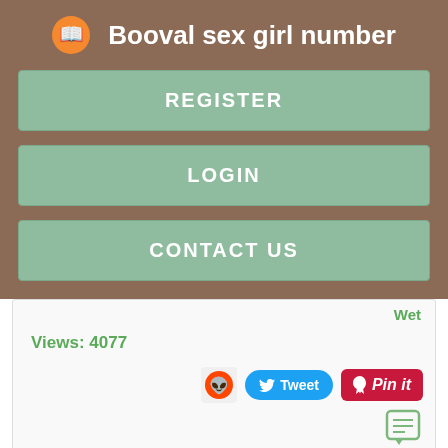Booval sex girl number
REGISTER
LOGIN
CONTACT US
Wet
Views: 4077
[Figure (screenshot): Social sharing buttons: Reddit, Tweet, Pin it]
[Figure (screenshot): Comment/list icon]
[Figure (photo): Three dark thumbnail images at the bottom]